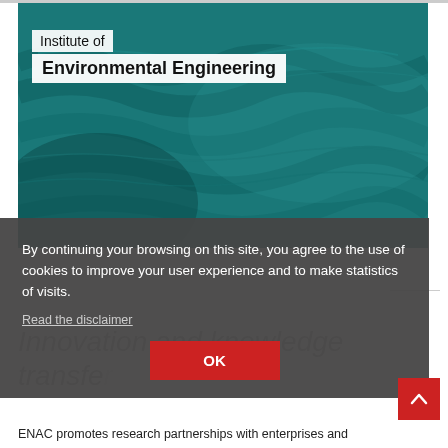[Figure (photo): Aerial teal-colored water/ocean texture photograph used as hero banner for Institute of Environmental Engineering]
Institute of
Environmental Engineering
By continuing your browsing on this site, you agree to the use of cookies to improve your user experience and to make statistics of visits.
Read the disclaimer
OK
Innovation and knowledge transfer
ENAC promotes research partnerships with enterprises and